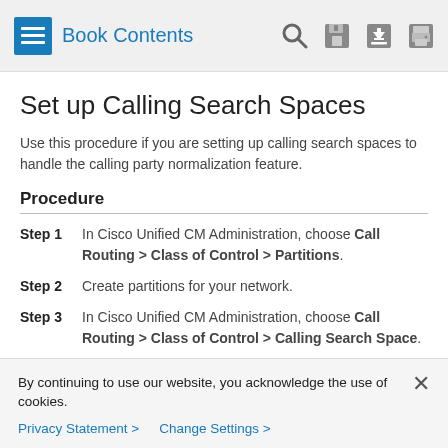Book Contents
Set up Calling Search Spaces
Use this procedure if you are setting up calling search spaces to handle the calling party normalization feature.
Procedure
Step 1  In Cisco Unified CM Administration, choose Call Routing > Class of Control > Partitions.
Step 2  Create partitions for your network.
Step 3  In Cisco Unified CM Administration, choose Call Routing > Class of Control > Calling Search Space.
Step 4  ...
By continuing to use our website, you acknowledge the use of cookies.
Privacy Statement > Change Settings >